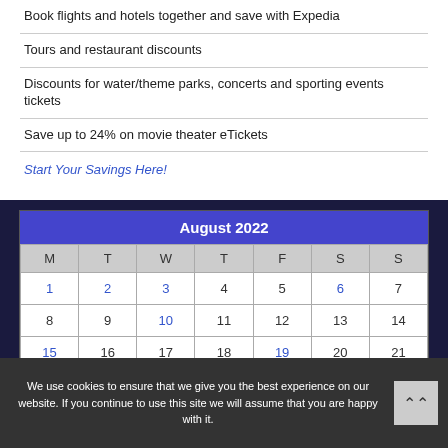Payless
Book flights and hotels together and save with Expedia
Tours and restaurant discounts
Discounts for water/theme parks, concerts and sporting events tickets
Save up to 24% on movie theater eTickets
Start Your Savings Here!
| August 2022 |  |  |  |  |  |  |
| --- | --- | --- | --- | --- | --- | --- |
| M | T | W | T | F | S | S |
| 1 | 2 | 3 | 4 | 5 | 6 | 7 |
| 8 | 9 | 10 | 11 | 12 | 13 | 14 |
| 15 | 16 | 17 | 18 | 19 | 20 | 21 |
We use cookies to ensure that we give you the best experience on our website. If you continue to use this site we will assume that you are happy with it.